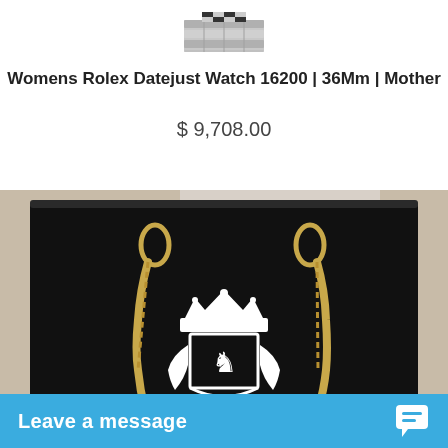[Figure (photo): Top portion of a Rolex watch bracelet, showing the clasp/bracelet links in silver stainless steel against a white background]
Womens Rolex Datejust Watch 16200 | 36Mm | Mother
$ 9,708.00
[Figure (photo): A person's hands holding a black jewelry box displaying a gold Cuban link chain necklace. The box features a white royal crest logo with a crown and lion. The bottom of the image shows a blue live chat bar reading 'Leave a message'.]
Leave a message